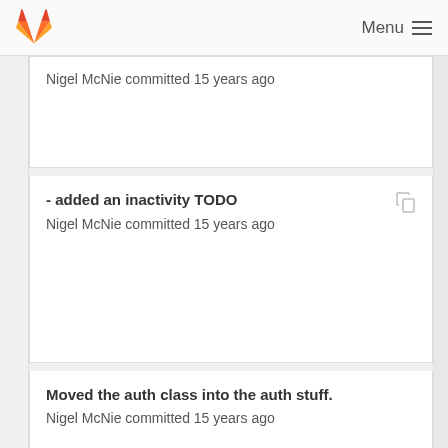Menu
Nigel McNie committed 15 years ago
- added an inactivity TODO
Nigel McNie committed 15 years ago
Moved the auth class into the auth stuff.
Nigel McNie committed 15 years ago